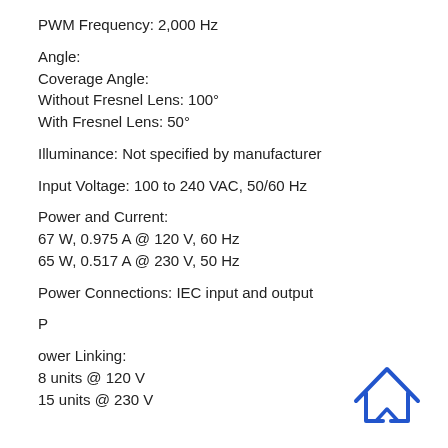PWM Frequency: 2,000 Hz
Angle:
Coverage Angle:
Without Fresnel Lens: 100°
With Fresnel Lens: 50°
Illuminance: Not specified by manufacturer
Input Voltage: 100 to 240 VAC, 50/60 Hz
Power and Current:
67 W, 0.975 A @ 120 V, 60 Hz
65 W, 0.517 A @ 230 V, 50 Hz
Power Connections: IEC input and output
P
ower Linking:
8 units @ 120 V
15 units @ 230 V
[Figure (logo): Blue house/arrow logo icon in bottom right corner]